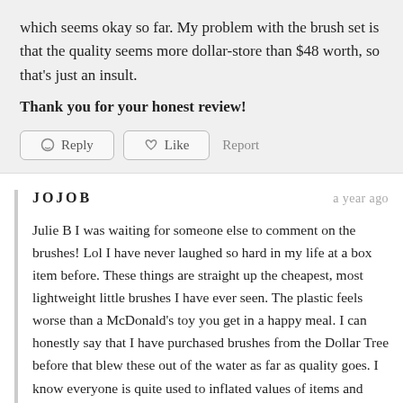which seems okay so far. My problem with the brush set is that the quality seems more dollar-store than $48 worth, so that’s just an insult.
Thank you for your honest review!
JOJOB   a year ago
Julie B I was waiting for someone else to comment on the brushes! Lol I have never laughed so hard in my life at a box item before. These things are straight up the cheapest, most lightweight little brushes I have ever seen. The plastic feels worse than a McDonald’s toy you get in a happy meal. I can honestly say that I have purchased brushes from the Dollar Tree before that blew these out of the water as far as quality goes. I know everyone is quite used to inflated values of items and usually I don’t bat an eye at the supposed “retail price” but this one was beyond